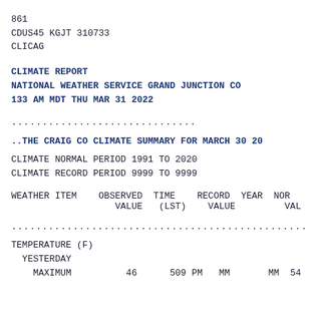861
CDUS45 KGJT 310733
CLICAG
CLIMATE REPORT
NATIONAL WEATHER SERVICE GRAND JUNCTION CO
133 AM MDT THU MAR 31 2022
..............................
..THE CRAIG CO CLIMATE SUMMARY FOR MARCH 30 20
CLIMATE NORMAL PERIOD 1991 TO 2020
CLIMATE RECORD PERIOD 9999 TO 9999
| WEATHER ITEM | OBSERVED VALUE | TIME (LST) | RECORD VALUE | YEAR | NOR VAL |
| --- | --- | --- | --- | --- | --- |
................................................
TEMPERATURE (F)
  YESTERDAY
    MAXIMUM              46      509 PM   MM       MM  54